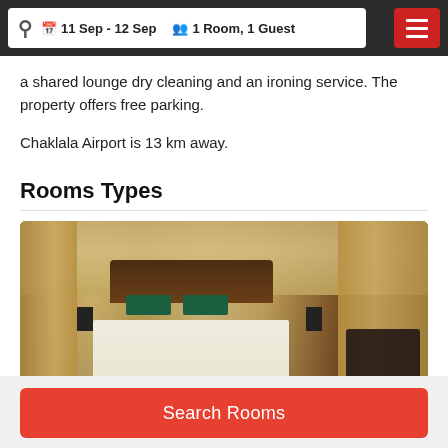11 Sep - 12 Sep | 1 Room, 1 Guest
a shared lounge dry cleaning and an ironing service. The property offers free parking.
Chaklala Airport is 13 km away.
Rooms Types
[Figure (photo): Hotel room photo showing a double bed with teal/green decorative pillows, upholstered headboard, flanked by nightstand lamps, gold/cream patterned wallpaper, gold curtains, and a dark accent chair on the right side.]
Search Rooms